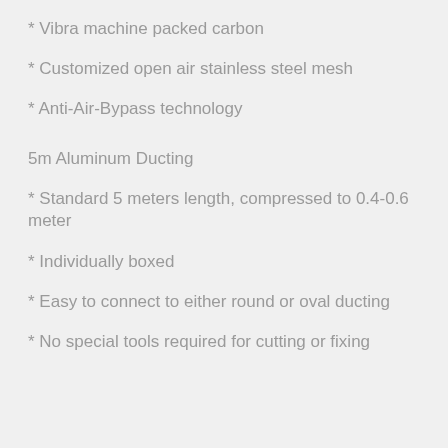* Vibra machine packed carbon
* Customized open air stainless steel mesh
* Anti-Air-Bypass technology
5m Aluminum Ducting
* Standard 5 meters length, compressed to 0.4-0.6 meter
* Individually boxed
* Easy to connect to either round or oval ducting
* No special tools required for cutting or fixing